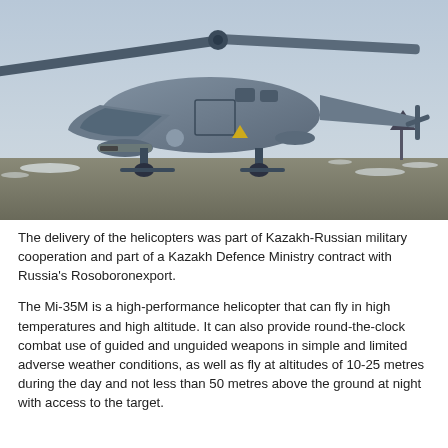[Figure (photo): A military helicopter (Mi-35M) photographed on the ground at an airfield. The helicopter is grey, shown in a three-quarter front view with its rotor blades visible. The background shows a flat field with patches of snow and an overcast sky.]
The delivery of the helicopters was part of Kazakh-Russian military cooperation and part of a Kazakh Defence Ministry contract with Russia's Rosoboronexport.
The Mi-35M is a high-performance helicopter that can fly in high temperatures and high altitude. It can also provide round-the-clock combat use of guided and unguided weapons in simple and limited adverse weather conditions, as well as fly at altitudes of 10-25 metres during the day and not less than 50 metres above the ground at night with access to the target.